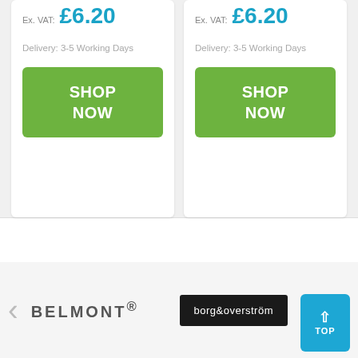Ex. VAT: £6.20
Delivery: 3-5 Working Days
SHOP NOW
Ex. VAT: £6.20
Delivery: 3-5 Working Days
SHOP NOW
[Figure (logo): BELMONT® logo in dark grey bold letters]
[Figure (logo): borg&overström logo in white text on black background]
TOP